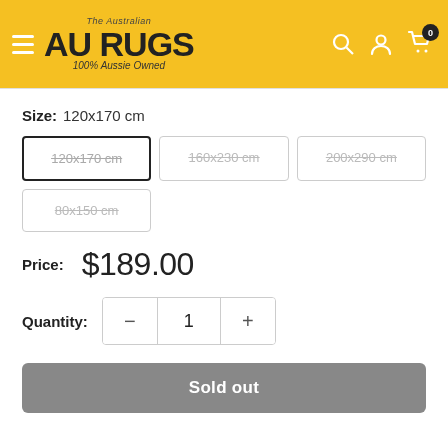[Figure (logo): AU Rugs - The Australian AU RUGS 100% Aussie Owned logo on yellow background with hamburger menu, search, account, and cart icons]
Size: 120x170 cm
120x170 cm (selected, strikethrough)
160x230 cm (strikethrough)
200x290 cm (strikethrough)
80x150 cm (strikethrough)
Price: $189.00
Quantity: 1
Sold out